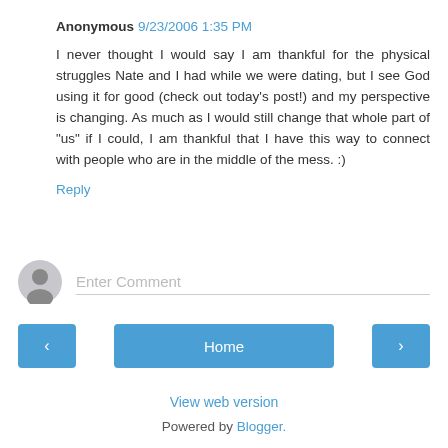Anonymous 9/23/2006 1:35 PM
I never thought I would say I am thankful for the physical struggles Nate and I had while we were dating, but I see God using it for good (check out today's post!) and my perspective is changing. As much as I would still change that whole part of "us" if I could, I am thankful that I have this way to connect with people who are in the middle of the mess. :)
Reply
Enter Comment
Home
View web version
Powered by Blogger.